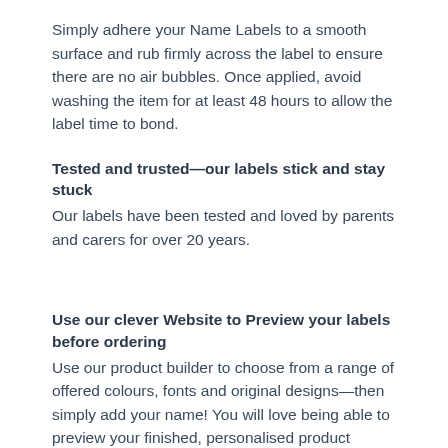Simply adhere your Name Labels to a smooth surface and rub firmly across the label to ensure there are no air bubbles. Once applied, avoid washing the item for at least 48 hours to allow the label time to bond.
Tested and trusted—our labels stick and stay stuck
Our labels have been tested and loved by parents and carers for over 20 years.
Use our clever Website to Preview your labels before ordering
Use our product builder to choose from a range of offered colours, fonts and original designs—then simply add your name! You will love being able to preview your finished, personalised product before placing your order! Not too sure which of our products to choose? Contact one of the friendly team at Stuck On You and they will happily advise you on which product will best